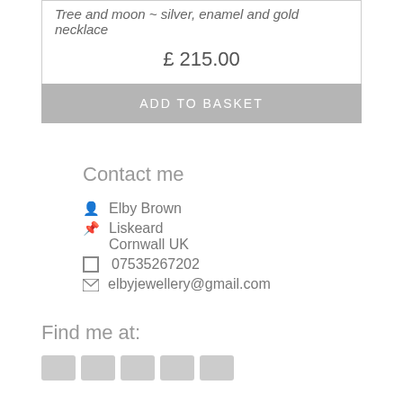Tree and moon ~ silver, enamel and gold necklace
£ 215.00
ADD TO BASKET
Contact me
Elby Brown
Liskeard
Cornwall UK
07535267202
elbyjewellery@gmail.com
Find me at:
[Figure (other): Row of social media icon buttons (5 grey boxes)]